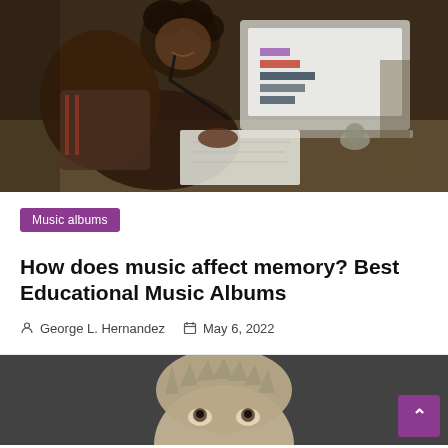[Figure (photo): Person with curly hair smiling, writing notes and using a laptop showing charts, sitting at a table]
Music albums
How does music affect memory? Best Educational Music Albums
George L. Hernandez   May 6, 2022
[Figure (photo): Close-up of a person's face with spiky hair, partially visible at bottom of page]